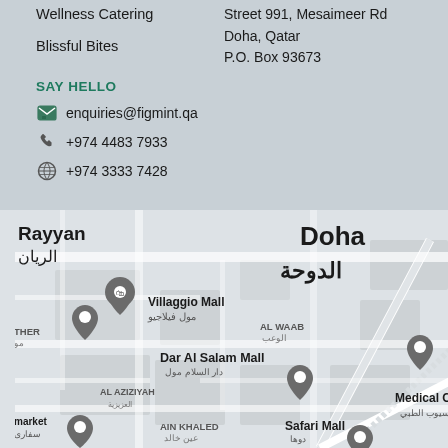Wellness Catering
Blissful Bites
Street 991, Mesaimeer Rd
Doha, Qatar
P.O. Box 93673
SAY HELLO
enquiries@figmint.qa
+974 4483 7933
+974 3333 7428
[Figure (map): Google Maps style map showing Doha, Qatar area with landmarks including Villaggio Mall, Dar Al Salam Mall, Medical Commission, Safari Mall, AL WAAB, AL AZIZIYAH, AIN KHALED, AL SADD, NAJMA, AL THUMAMA, Rayyan, Saliwa Rd, Doha Expy]